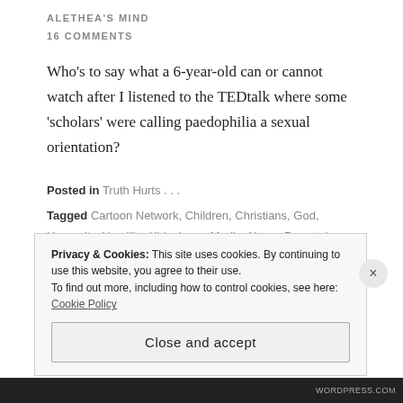ALETHEA'S MIND
16 COMMENTS
Who's to say what a 6-year-old can or cannot watch after I listened to the TEDtalk where some 'scholars' were calling paedophilia a sexual orientation?
Posted in Truth Hurts . . .
Tagged Cartoon Network, Children, Christians, God, Humanity, Humility, Kids, Love, Media, News, Parental Guidance, Parenting, PG, Pornography, Sex, Sexuality, TEDtalk, Truth, TV
Privacy & Cookies: This site uses cookies. By continuing to use this website, you agree to their use. To find out more, including how to control cookies, see here: Cookie Policy
Close and accept